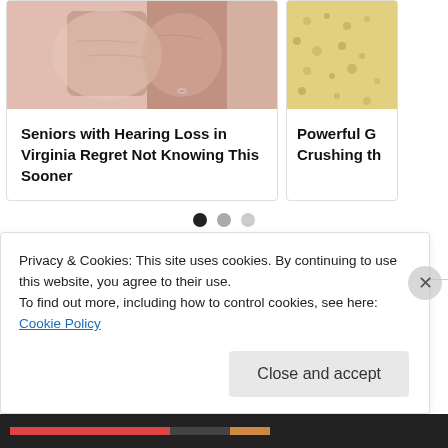[Figure (photo): Partial view of two article cards side by side. Left card shows a close-up photo of skin/fingers. Right card shows a partial photo of a grainy/sandy texture.]
Seniors with Hearing Loss in Virginia Regret Not Knowing This Sooner
Powerful G Crushing th
[Figure (other): Carousel navigation dots: one filled black, one medium gray, one light gray]
May 16, 2009
Chi... (partial article title cut off by cookie banner)
Privacy & Cookies: This site uses cookies. By continuing to use this website, you agree to their use.
To find out more, including how to control cookies, see here: Cookie Policy
Close and accept